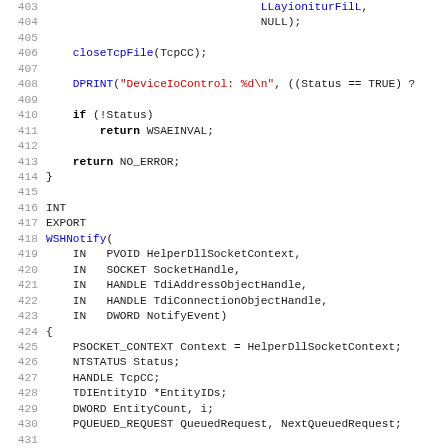[Figure (screenshot): Source code listing in C showing lines 403-435 of a Windows Socket Helper (WSH) implementation, featuring functions closeTcpFile, DPRINT, WSHNotify with parameters and local variable declarations, and a switch statement on NotifyEvent.]